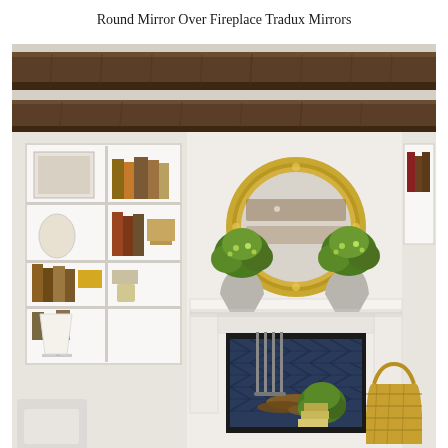Round Mirror Over Fireplace Tradux Mirrors
[Figure (photo): Interior living room photo showing a white fireplace with a large round gold-framed mirror mounted above the mantel, flanked by two white vases with green plants. Built-in white bookshelves are visible on the left. Dark wooden ceiling beams span the top of the room. Fireplace hearth shows navy herringbone tile pattern with logs stacked inside. A wicker basket and additional greenery sit on the floor to the right.]